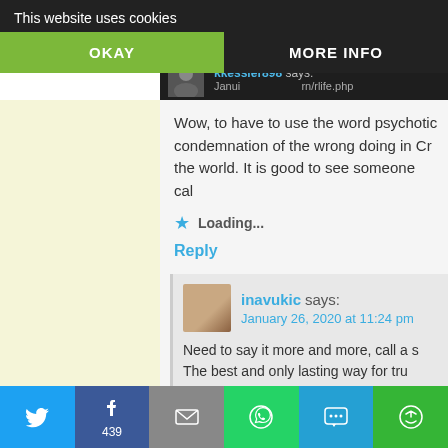This website uses cookies
OKAY
MORE INFO
kkessler898 says:
Wow, to have to use the word psychotic condemnation of the wrong doing in Cr the world. It is good to see someone cal
Loading...
Reply
inavukic says: January 26, 2020 at 11:24 pm
Need to say it more and more, call a s The best and only lasting way for tru you!
Twitter | Facebook 439 | Email | WhatsApp | SMS | More